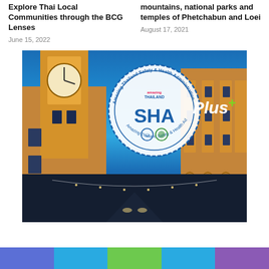Explore Thai Local Communities through the BCG Lenses
June 15, 2022
mountains, national parks and temples of Phetchabun and Loei
August 17, 2021
[Figure (photo): Night photo of Phuket Old Town street with clock tower on left and Sino-Portuguese colonial buildings, overlaid with Amazing Thailand SHA Plus (Safety & Health Administration) certification badge]
[Figure (infographic): Horizontal color bar with five colored blocks: blue, cyan/light blue, green, cyan/light blue, purple]